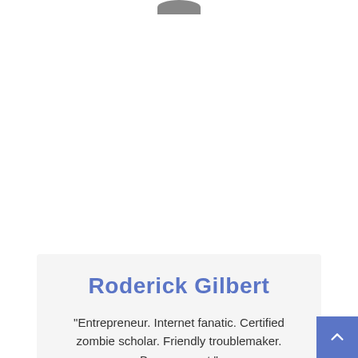[Figure (photo): Partial view of a circular avatar/profile photo at the top of the page, mostly cropped out of frame]
Roderick Gilbert
"Entrepreneur. Internet fanatic. Certified zombie scholar. Friendly troublemaker. Bacon expert."